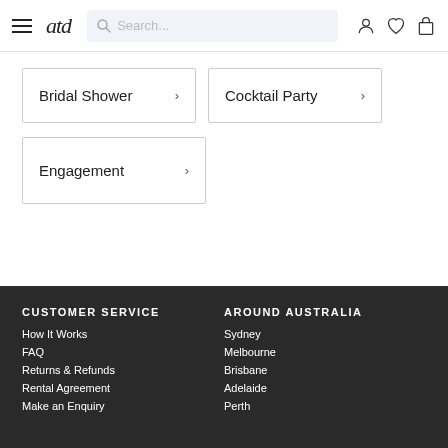atd — navigation header with hamburger menu, logo, search box, and icons (account, wishlist, cart)
Bridal Shower
Cocktail Party
Engagement
CUSTOMER SERVICE
How It Works
FAQ
Returns & Refunds
Rental Agreement
Make an Enquiry
AROUND AUSTRALIA
Sydney
Melbourne
Brisbane
Adelaide
Perth